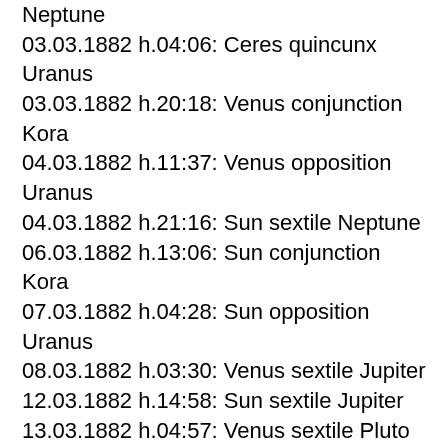Neptune
03.03.1882 h.04:06: Ceres quincunx Uranus
03.03.1882 h.20:18: Venus conjunction Kora
04.03.1882 h.11:37: Venus opposition Uranus
04.03.1882 h.21:16: Sun sextile Neptune
06.03.1882 h.13:06: Sun conjunction Kora
07.03.1882 h.04:28: Sun opposition Uranus
08.03.1882 h.03:30: Venus sextile Jupiter
12.03.1882 h.14:58: Sun sextile Jupiter
13.03.1882 h.04:57: Venus sextile Pluto
14.03.1882 h.21:43: Mercury square Pluto
15.03.1882 h.04:42: Venus ingres Aries
18.03.1882 h.01:51: Uranus opposition Kora
18.03.1882 h.05:00: Mercury...